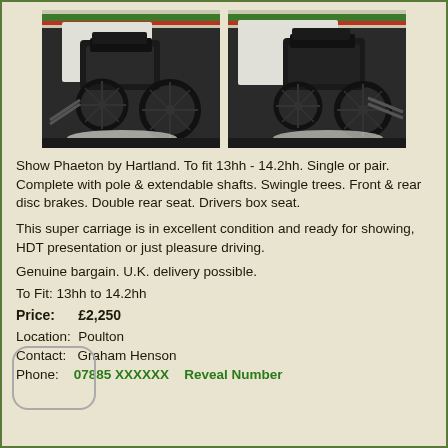[Figure (photo): Two photos of a Show Phaeton carriage by Hartland, shown from different angles, displayed side by side.]
Show Phaeton by Hartland. To fit 13hh - 14.2hh. Single or pair. Complete with pole & extendable shafts. Swingle trees. Front & rear disc brakes. Double rear seat. Drivers box seat.
This super carriage is in excellent condition and ready for showing, HDT presentation or just pleasure driving.
Genuine bargain. U.K. delivery possible.
To Fit: 13hh to 14.2hh
Price:      £2,250
Location:  Poulton
Contact:  Graham Henson
Phone:   07885 XXXXXX    Reveal Number